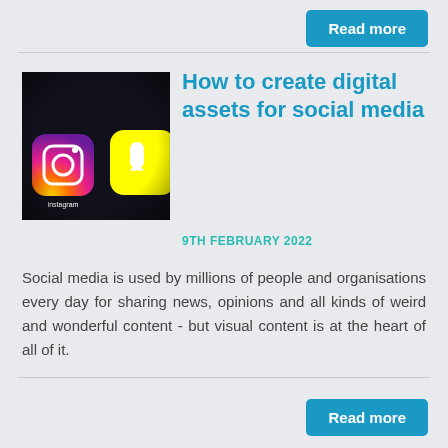Read more
[Figure (photo): Close-up photo of a smartphone screen showing social media app icons including Instagram and Snapchat on a dark background]
How to create digital assets for social media
9TH FEBRUARY 2022
Social media is used by millions of people and organisations every day for sharing news, opinions and all kinds of weird and wonderful content - but visual content is at the heart of all of it.
Read more